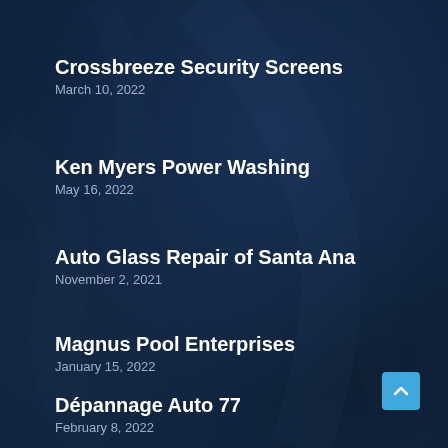Crossbreeze Security Screens
March 10, 2022
Ken Myers Power Washing
May 16, 2022
Auto Glass Repair of Santa Ana
November 2, 2021
Magnus Pool Enterprises
January 15, 2022
Dépannage Auto 77
February 8, 2022